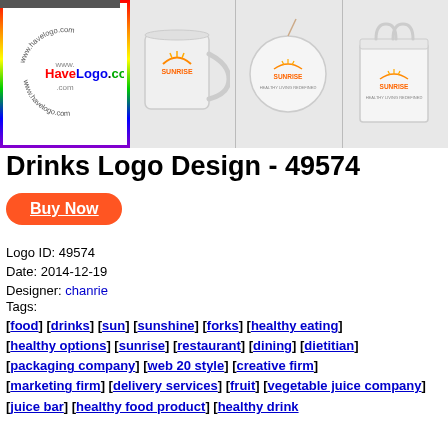[Figure (photo): Banner showing www.HaveLogo.com logo on left with rainbow border, and three product mockups (mug, ball/disc, bag) with Sunrise logo on right. Background has large watermark numbers.]
Drinks Logo Design - 49574
Buy Now
Logo ID: 49574
Date: 2014-12-19
Designer: chanrie
Tags:
[food] [drinks] [sun] [sunshine] [forks] [healthy eating] [healthy options] [sunrise] [restaurant] [dining] [dietitian] [packaging company] [web 20 style] [creative firm] [marketing firm] [delivery services] [fruit] [vegetable juice company] [juice bar] [healthy food product] [healthy drink